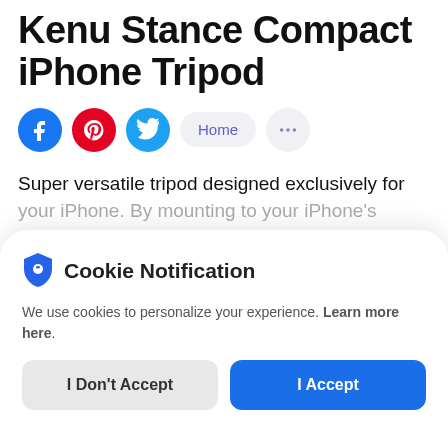Kenu Stance Compact iPhone Tripod
[Figure (infographic): Social sharing icons row: Facebook (blue circle), Pinterest (red circle), Twitter (cyan circle), Home button (light pill), More options (light circle with dots icon)]
Super versatile tripod designed exclusively for your iPhone. By mounting to your iPhone's Lightning port via MicroMount, the Kenu Stance
Cookie Notification
We use cookies to personalize your experience. Learn more here.
I Don't Accept | I Accept